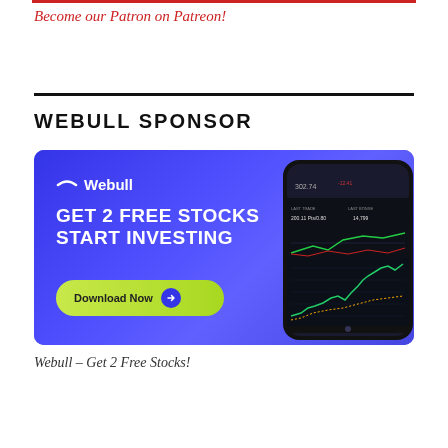Become our Patron on Patreon!
WEBULL SPONSOR
[Figure (photo): Webull advertisement banner with blue gradient background showing the Webull logo, text 'GET 2 FREE STOCKS START INVESTING', a Download Now button, and a smartphone mockup displaying a stock trading chart with price 302.74]
Webull – Get 2 Free Stocks!